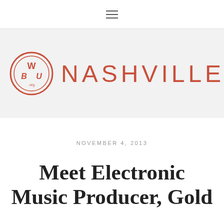≡
[Figure (logo): WBU Nashville logo with circular WBU emblem in coral/red and 'NASHVILLE' text in coral/red capitals with wide letter-spacing]
NOVEMBER 4, 2013
Meet Electronic Music Producer, Gold